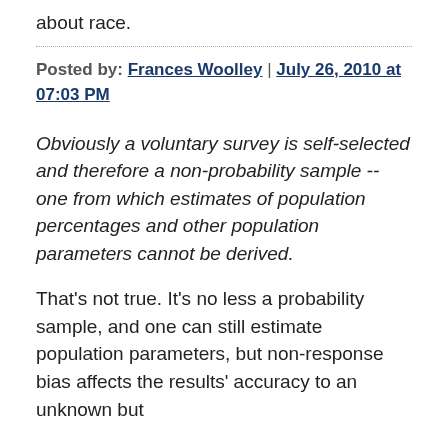about race.
Posted by: Frances Woolley | July 26, 2010 at 07:03 PM
Obviously a voluntary survey is self-selected and therefore a non-probability sample -- one from which estimates of population percentages and other population parameters cannot be derived.
That's not true. It's no less a probability sample, and one can still estimate population parameters, but non-response bias affects the results' accuracy to an unknown but